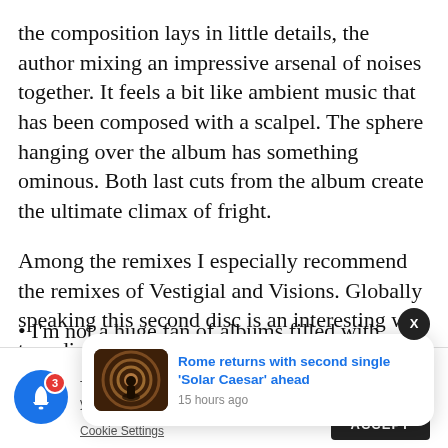the composition lays in little details, the author mixing an impressive arsenal of noises together. It feels a bit like ambient music that has been composed with a scalpel. The sphere hanging over the album has something ominous. Both last cuts from the album create the ultimate climax of fright.
Among the remixes I especially recommend the remixes of Vestigial and Visions. Globally speaking this second disc is an interesting way to rediscover older cuts, which have been accentuated by different elements from the remixers.
• I'm not a huge fan of albums filled with
This website u... me you're...
[Figure (screenshot): Notification card showing article 'Rome returns with second single Solar Caesar ahead' with thumbnail image and timestamp '15 hours ago', alongside a notification bell button with badge showing 3, and a dark close X button.]